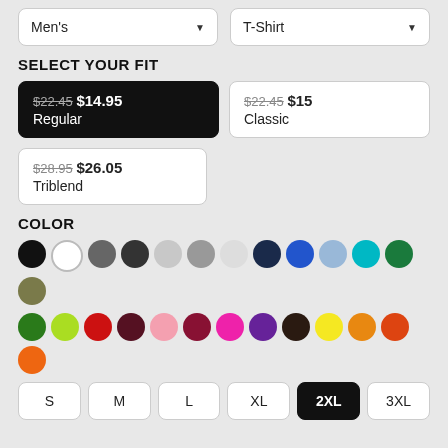Men's (dropdown)
T-Shirt (dropdown)
SELECT YOUR FIT
$22.45 $14.95 Regular (selected)
$22.45 $15 Classic
$28.95 $26.05 Triblend
COLOR
[Figure (other): Color swatches: black, white, dark gray, charcoal, light gray, medium gray, pale gray, navy, royal blue, light blue, teal, green, olive, green, lime, red, maroon, pink, dark red, magenta, purple, dark brown, yellow, gold, orange-red, orange]
S
M
L
XL
2XL (selected)
3XL